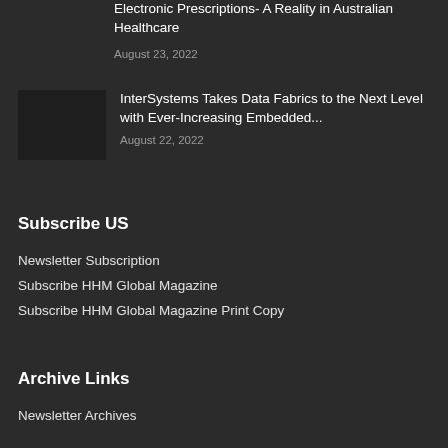Electronic Prescriptions- A Reality in Australian Healthcare
August 23, 2022
InterSystems Takes Data Fabrics to the Next Level with Ever-Increasing Embedded...
August 22, 2022
Subscribe US
Newsletter Subscription
Subscribe HHM Global Magazine
Subscribe HHM Global Magazine Print Copy
Archive Links
Newsletter Archives